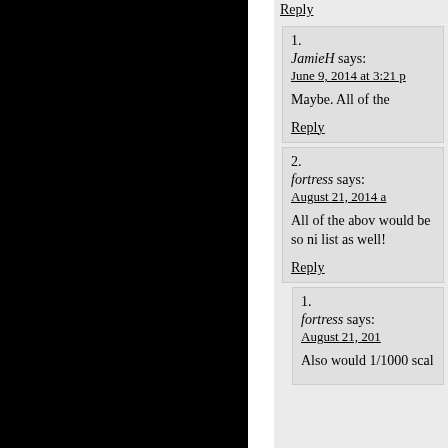Reply
1. JamieH says: June 9, 2014 at 3:21 p
Maybe. All of the
Reply
2. fortress says: August 21, 2014 a
All of the abov would be so ni list as well!
Reply
1. fortress says: August 21, 20
Also would 1/1000 scal